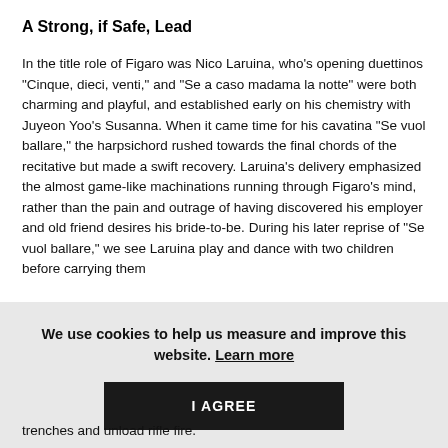A Strong, if Safe, Lead
In the title role of Figaro was Nico Laruina, who’s opening duettinos “Cinque, dieci, venti,” and “Se a caso madama la notte” were both charming and playful, and established early on his chemistry with Juyeon Yoo’s Susanna. When it came time for his cavatina “Se vuol ballare,” the harpsichord rushed towards the final chords of the recitative but made a swift recovery. Laruina’s delivery emphasized the almost game-like machinations running through Figaro’s mind, rather than the pain and outrage of having discovered his employer and old friend desires his bride-to-be. During his later reprise of “Se vuol ballare,” we see Laruina play and dance with two children before carrying them
We use cookies to help us measure and improve this website. Learn more
I AGREE
trenches and unload rifle fire.